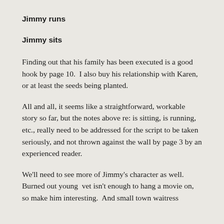Jimmy runs
Jimmy sits
Finding out that his family has been executed is a good hook by page 10.  I also buy his relationship with Karen, or at least the seeds being planted.
All and all, it seems like a straightforward, workable story so far, but the notes above re: is sitting, is running, etc., really need to be addressed for the script to be taken seriously, and not thrown against the wall by page 3 by an experienced reader.
We'll need to see more of Jimmy's character as well.  Burned out young  vet isn't enough to hang a movie on, so make him interesting.  And small town waitress